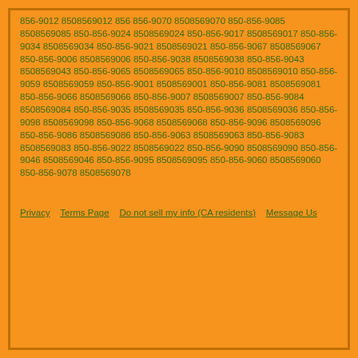856-9012 8508569012 856 856-9070 8508569070 850-856-9085 8508569085 850-856-9024 8508569024 850-856-9017 8508569017 850-856-9034 8508569034 850-856-9021 8508569021 850-856-9067 8508569067 850-856-9006 8508569006 850-856-9038 8508569038 850-856-9043 8508569043 850-856-9065 8508569065 850-856-9010 8508569010 850-856-9059 8508569059 850-856-9001 8508569001 850-856-9081 8508569081 850-856-9066 8508569066 850-856-9007 8508569007 850-856-9084 8508569084 850-856-9035 8508569035 850-856-9036 8508569036 850-856-9098 8508569098 850-856-9068 8508569068 850-856-9096 8508569096 850-856-9086 8508569086 850-856-9063 8508569063 850-856-9083 8508569083 850-856-9022 8508569022 850-856-9090 8508569090 850-856-9046 8508569046 850-856-9095 8508569095 850-856-9060 8508569060 850-856-9078 8508569078
Privacy   Terms Page   Do not sell my info (CA residents)   Message Us